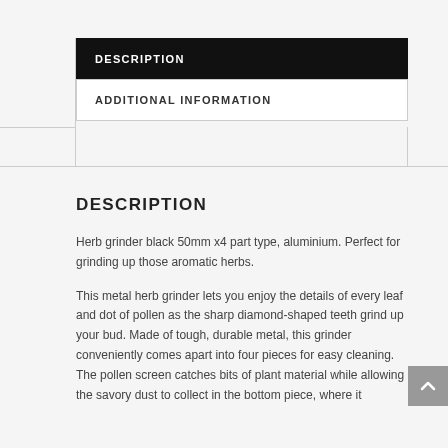DESCRIPTION
ADDITIONAL INFORMATION
DESCRIPTION
Herb grinder black 50mm x4 part type, aluminium. Perfect for grinding up those aromatic herbs.
This metal herb grinder lets you enjoy the details of every leaf and dot of pollen as the sharp diamond-shaped teeth grind up your bud. Made of tough, durable metal, this grinder conveniently comes apart into four pieces for easy cleaning. The pollen screen catches bits of plant material while allowing the savory dust to collect in the bottom piece, where it